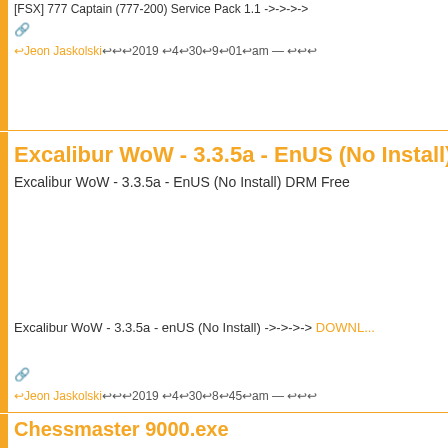[FSX] 777 Captain (777-200) Service Pack 1.1 ->->->->
🔗
↩Jeon Jaskolski↩↩↩2019 ↩4↩30↩9↩01↩am — ↩↩↩
Excalibur WoW - 3.3.5a - EnUS (No Install) DRM Free
Excalibur WoW - 3.3.5a - EnUS (No Install) DRM Free
Excalibur WoW - 3.3.5a - enUS (No Install) ->->->-> DOWNL...
🔗
↩Jeon Jaskolski↩↩↩2019 ↩4↩30↩8↩45↩am — ↩↩↩
Chessmaster 9000.exe
Chessmaster 9000.exe